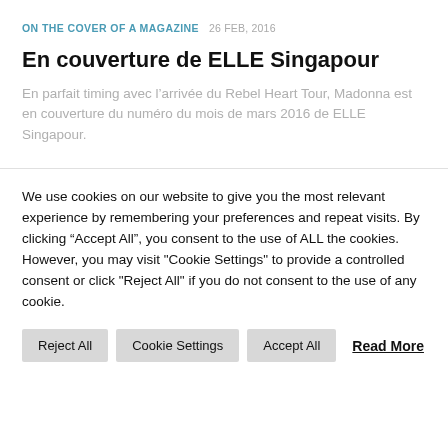ON THE COVER OF A MAGAZINE  26 FEB, 2016
En couverture de ELLE Singapour
En parfait timing avec l’arrivée du Rebel Heart Tour, Madonna est en couverture du numéro du mois de mars 2016 de ELLE Singapour.
We use cookies on our website to give you the most relevant experience by remembering your preferences and repeat visits. By clicking “Accept All”, you consent to the use of ALL the cookies. However, you may visit "Cookie Settings" to provide a controlled consent or click "Reject All" if you do not consent to the use of any cookie.